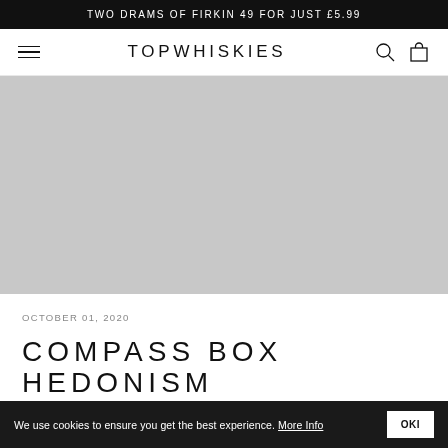TWO DRAMS OF FIRKIN 49 FOR JUST £5.99
TOPWHISKIES
[Figure (photo): Large grey placeholder image for a product or article image]
OCTOBER 01, 2020
COMPASS BOX HEDONISM
We use cookies to ensure you get the best experience. More Info   OKI